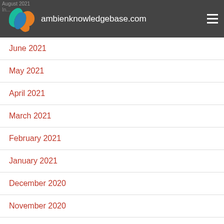ambienknowledgebase.com
June 2021
May 2021
April 2021
March 2021
February 2021
January 2021
December 2020
November 2020
October 2020
September 2020
August 2020